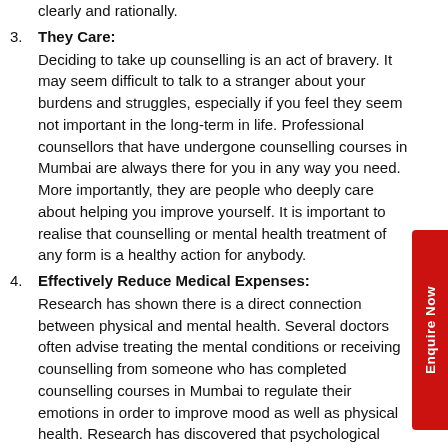clearly and rationally.
They Care: Deciding to take up counselling is an act of bravery. It may seem difficult to talk to a stranger about your burdens and struggles, especially if you feel they seem not important in the long-term in life. Professional counsellors that have undergone counselling courses in Mumbai are always there for you in any way you need. More importantly, they are people who deeply care about helping you improve yourself. It is important to realise that counselling or mental health treatment of any form is a healthy action for anybody.
Effectively Reduce Medical Expenses: Research has shown there is a direct connection between physical and mental health. Several doctors often advise treating the mental conditions or receiving counselling from someone who has completed counselling courses in Mumbai to regulate their emotions in order to improve mood as well as physical health. Research has discovered that psychological treatment along with chronic physical conditions in a group setting significantly provided physical and financial benefits.
Provides Educational And Technical Skills: